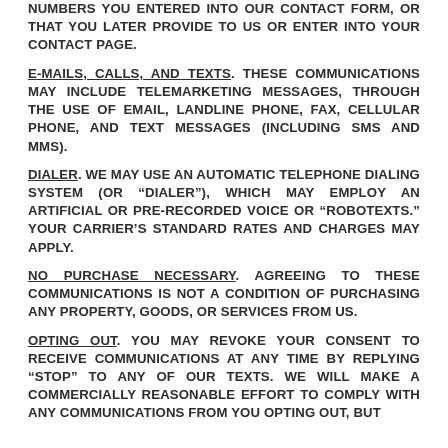NUMBERS YOU ENTERED INTO OUR CONTACT FORM, OR THAT YOU LATER PROVIDE TO US OR ENTER INTO YOUR CONTACT PAGE.
E-MAILS, CALLS, AND TEXTS. THESE COMMUNICATIONS MAY INCLUDE TELEMARKETING MESSAGES, THROUGH THE USE OF EMAIL, LANDLINE PHONE, FAX, CELLULAR PHONE, AND TEXT MESSAGES (INCLUDING SMS AND MMS).
DIALER. WE MAY USE AN AUTOMATIC TELEPHONE DIALING SYSTEM (OR “DIALER”), WHICH MAY EMPLOY AN ARTIFICIAL OR PRE-RECORDED VOICE OR “ROBOTEXTS.” YOUR CARRIER’S STANDARD RATES AND CHARGES MAY APPLY.
NO PURCHASE NECESSARY. AGREEING TO THESE COMMUNICATIONS IS NOT A CONDITION OF PURCHASING ANY PROPERTY, GOODS, OR SERVICES FROM US.
OPTING OUT. YOU MAY REVOKE YOUR CONSENT TO RECEIVE COMMUNICATIONS AT ANY TIME BY REPLYING “STOP” TO ANY OF OUR TEXTS. WE WILL MAKE A COMMERCIALLY REASONABLE EFFORT TO COMPLY WITH ANY COMMUNICATIONS FROM YOU OPTING OUT, BUT